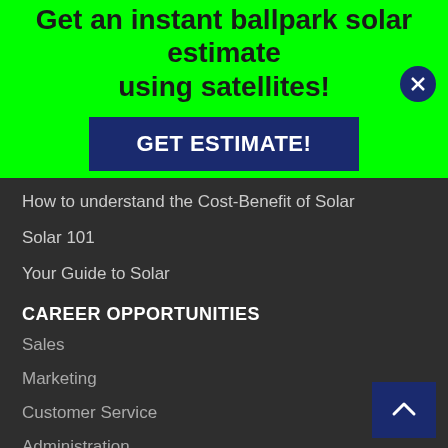Get an instant ballpark solar estimate using satellites!
GET ESTIMATE!
How to understand the Cost-Benefit of Solar
Solar 101
Your Guide to Solar
CAREER OPPORTUNITIES
Sales
Marketing
Customer Service
Administration
Technology